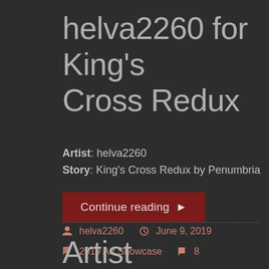helva2260 for King's Cross Redux
Artist: helva2260
Story: King's Cross Redux by Penumbria
Continue reading ▶
helva2260  June 9, 2019
2019 Art Showcase  8
Artist Showcase: Syble